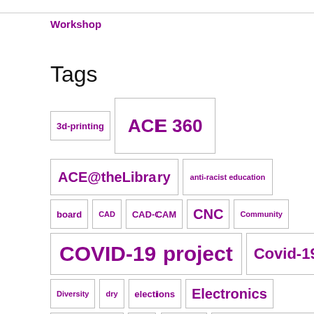Workshop
Tags
3d-printing
ACE 360
ACE@theLibrary
anti-racist education
board
CAD
CAD-CAM
CNC
Community
COVID-19 project
Covid-19 Safety
Diversity
dry
elections
Electronics
furniture making
glue
interview
interviews